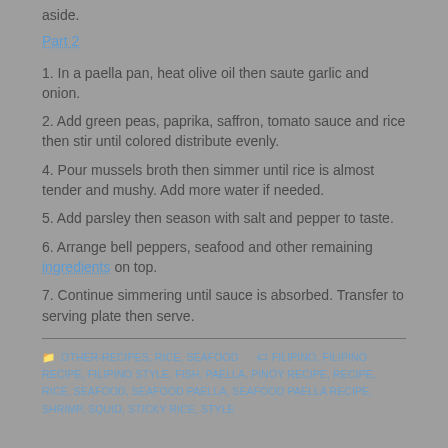aside.
Part 2
1. In a paella pan, heat olive oil then saute garlic and onion.
2. Add green peas, paprika, saffron, tomato sauce and rice then stir until colored distribute evenly.
4. Pour mussels broth then simmer until rice is almost tender and mushy. Add more water if needed.
5. Add parsley then season with salt and pepper to taste.
6. Arrange bell peppers, seafood and other remaining ingredients on top.
7. Continue simmering until sauce is absorbed. Transfer to serving plate then serve.
OTHER-RECIPES, RICE, SEAFOOD   FILIPINO, FILIPINO RECIPE, FILIPINO STYLE, FISH, PAELLA, PINOY RECIPE, RECIPE, RICE, SEAFOOD, SEAFOOD PAELLA, SEAFOOD PAELLA RECIPE, SHRIMP, SQUID, STICKY RICE, STYLE